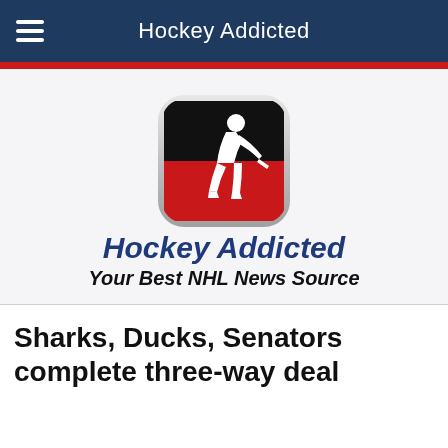Hockey Addicted
[Figure (logo): Hockey Addicted app logo: rounded square icon with black and red halves showing a white hockey player silhouette, silver border.]
Hockey Addicted
Your Best NHL News Source
Sharks, Ducks, Senators complete three-way deal